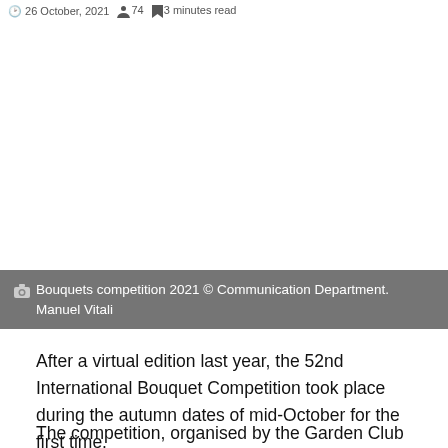26 October, 2021  74  3 minutes read
[Figure (photo): White/blank image area for bouquets competition photo]
Bouquets competition 2021 © Communication Department. Manuel Vitali
After a virtual edition last year, the 52nd International Bouquet Competition took place during the autumn dates of mid-October for the first time.
The competition, organised by the Garden Club of Monaco,